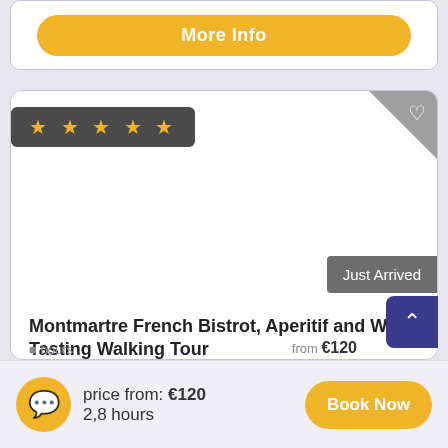[Figure (screenshot): Top partial card with 'More Info' button in yellow/gold, partially visible]
[Figure (screenshot): Tour listing card with 5 star rating badge, heart icon corner, 'Just Arrived' badge, and tour image area]
Montmartre French Bistrot, Aperitif and Wine Tasting Walking Tour
On this tour we will be moving around some great Bistros and wine bars to appreciate the amazing wine and soak up the great atmosphere.
price from: €120
2,8 hours
Book Now